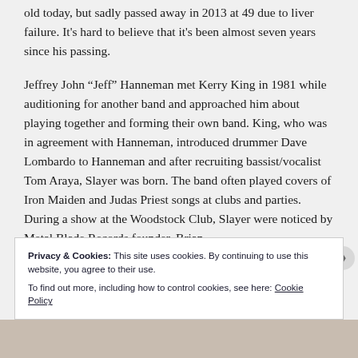old today, but sadly passed away in 2013 at 49 due to liver failure. It's hard to believe that it's been almost seven years since his passing.
Jeffrey John “Jeff” Hanneman met Kerry King in 1981 while auditioning for another band and approached him about playing together and forming their own band. King, who was in agreement with Hanneman, introduced drummer Dave Lombardo to Hanneman and after recruiting bassist/vocalist Tom Araya, Slayer was born. The band often played covers of Iron Maiden and Judas Priest songs at clubs and parties. During a show at the Woodstock Club, Slayer were noticed by Metal Blade Records founder, Brian
Privacy & Cookies: This site uses cookies. By continuing to use this website, you agree to their use.
To find out more, including how to control cookies, see here: Cookie Policy
Close and accept